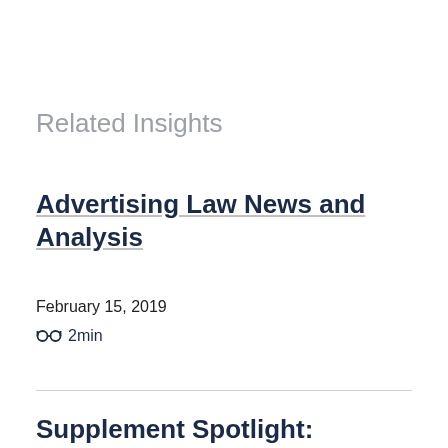Related Insights
Advertising Law News and Analysis
February 15, 2019
2min
Supplement Spotlight: